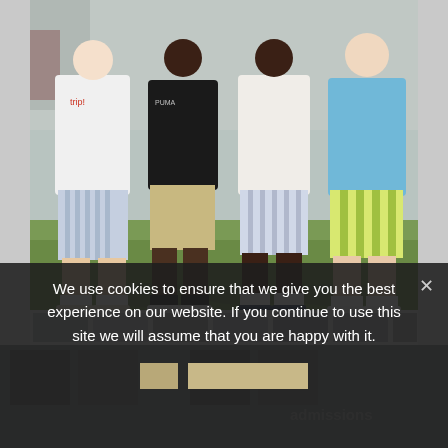[Figure (photo): Four young men standing together outdoors on grass. From left to right: person in white Nike t-shirt and blue striped shorts with white sneakers; person in black Puma t-shirt and khaki shorts with white sneakers; person in white t-shirt and blue striped shorts with dark sandals; person in light blue sweatshirt and yellow-green striped shorts with white sneakers. All wearing white socks.]
We use cookies to ensure that we give you the best experience on our website. If you continue to use this site we will assume that you are happy with it.